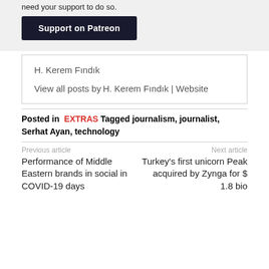need your support to do so.
Support on Patreon
H. Kerem Fındık
View all posts by H. Kerem Fındık | Website
Posted in  EXTRAS  Tagged  journalism, journalist, Serhat Ayan, technology
Previous article  Performance of Middle Eastern brands in social in COVID-19 days
Next article  Turkey's first unicorn Peak acquired by Zynga for $ 1.8 bio